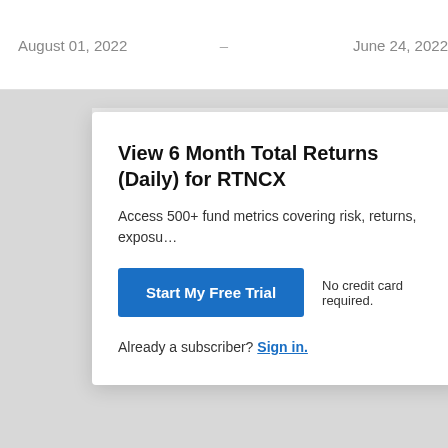August 01, 2022  –  June 24, 2022
View 6 Month Total Returns (Daily) for RTNCX
Access 500+ fund metrics covering risk, returns, exposu…
Start My Free Trial
No credit card required.
Already a subscriber? Sign in.